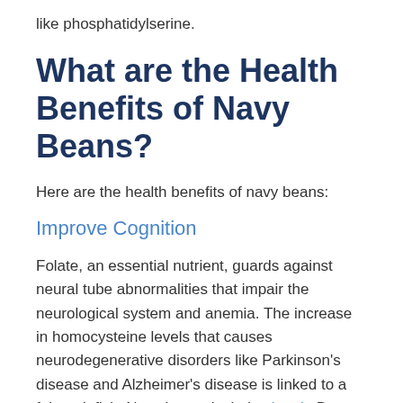like phosphatidylserine.
What are the Health Benefits of Navy Beans?
Here are the health benefits of navy beans:
Improve Cognition
Folate, an essential nutrient, guards against neural tube abnormalities that impair the neurological system and anemia. The increase in homocysteine levels that causes neurodegenerative disorders like Parkinson's disease and Alzheimer's disease is linked to a folate deficit. Navy beans include vitamin B, which boosts several neurotransmitters to